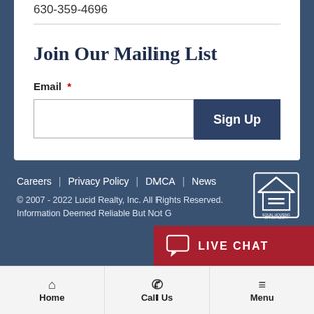630-359-4696
Join Our Mailing List
Email *
Sign Up
Careers | Privacy Policy | DMCA | News
© 2007 - 2022 Lucid Realty, Inc. All Rights Reserved. Information Deemed Reliable But Not G...
[Figure (logo): Equal Housing Opportunity logo - house with equal sign]
LIVE CHAT
Home   Call Us   Menu